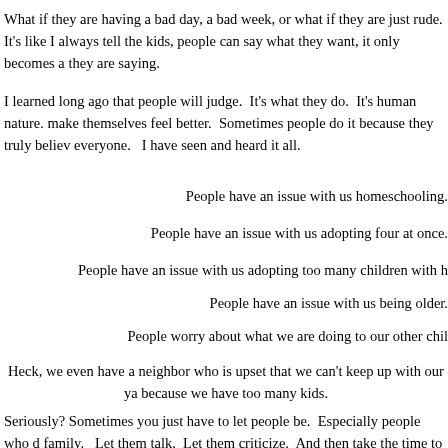What if they are having a bad day, a bad week, or what if they are just rude.  It's like I always tell the kids, people can say what they want, it only becomes a they are saying.
I learned long ago that people will judge.  It's what they do.  It's human nature. make themselves feel better.  Sometimes people do it because they truly believ everyone.   I have seen and heard it all.
People have an issue with us homeschooling.
People have an issue with us adopting four at once.
People have an issue with us adopting too many children with h
People have an issue with us being older.
People worry about what we are doing to our other chil
Heck, we even have a neighbor who is upset that we can't keep up with our ya because we have too many kids.
Seriously? Sometimes you just have to let people be.  Especially people who d family.   Let them talk.  Let them criticize.  And then take the time to pray for the
Years ago this would have driven me crazy.   I would have lost sleep over it, b like to know why?  Because I gave up caring what others thought and started